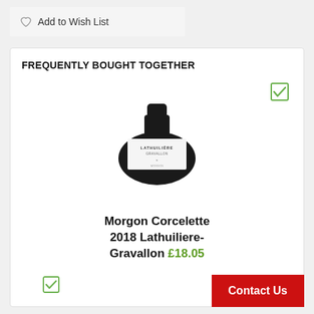Add to Wish List
FREQUENTLY BOUGHT TOGETHER
[Figure (photo): A dark wine bottle laid at an angle with a white label showing Morgon Corcelette branding]
Morgon Corcelette 2018 Lathuiliere-Gravallon £18.05
Contact Us